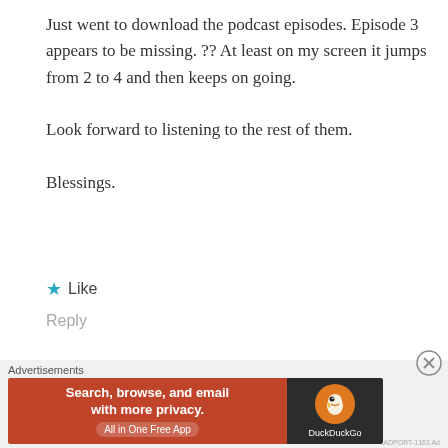Just went to download the podcast episodes. Episode 3 appears to be missing. ?? At least on my screen it jumps from 2 to 4 and then keeps on going.

Look forward to listening to the rest of them.

Blessings.
★ Like
Reply
Advertisements
[Figure (infographic): DuckDuckGo advertisement banner. Left side orange/red with text 'Search, browse, and email with more privacy. All in One Free App'. Right side dark with DuckDuckGo duck logo.]